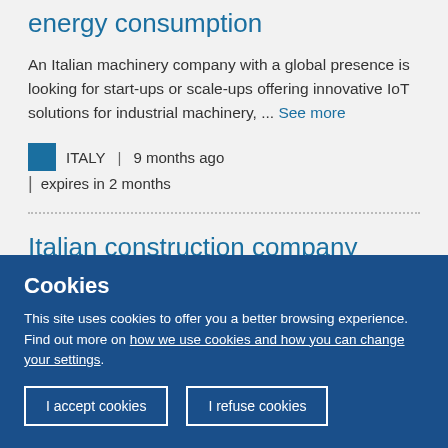energy consumption
An Italian machinery company with a global presence is looking for start-ups or scale-ups offering innovative IoT solutions for industrial machinery, ... See more
ITALY | 9 months ago | expires in 2 months
Italian construction company seeks innovative laying techniques for sloped surfaces in dams and
Cookies
This site uses cookies to offer you a better browsing experience. Find out more on how we use cookies and how you can change your settings.
I accept cookies | I refuse cookies